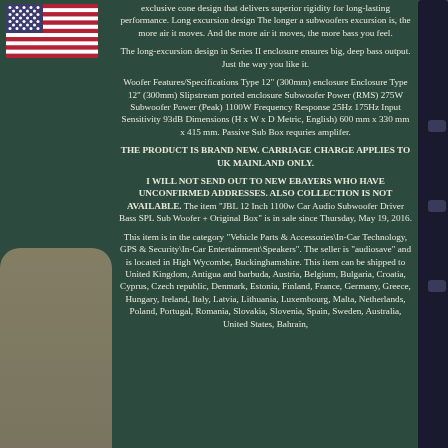[Figure (illustration): US flag in top left corner]
exclusive cone design that delivers superior rigidity for long-lasting performance. Long excursion design The longer a subwoofers excursion is, the more air it moves. And the more air it moves, the more bass you feel.
The long-excursion design in Series II enclosure ensures big, deep bass output. Just the way you like it.
Woofer Features/Specifications Type 12" (300mm) enclosure Enclosure Type 12" (300mm) Slipstream ported enclosure Subwoofer Power (RMS) 275W Subwoofer Power (Peak) 1100W Frequency Response 25Hz 175Hz Input Sensitivity 93dB Dimensions (H x W x D Metric, English) 600 mm x 330 mm x 415 mm. Passive Sub Box requries amplifer.
THE PRODUCT IS BRAND NEW. CARRIAGE CHARGE APPLIES TO UK MAINLAND ONLY.
I WILL NOT SEND OUT TO NEW EBAYERS WHO HAVE UNCONFIRMED ADDRESSES. ALSO COLLECTION IS NOT AVAILABLE. The item "JBL 12 Inch 1100w Car Audio Subwoofer Driver Bass SPL Sub Woofer + Original Box" is in sale since Thursday, May 19, 2016.
This item is in the category "Vehicle Parts & Accessories\In-Car Technology, GPS & Security\In-Car Entertainment\Speakers". The seller is "audiosave" and is located in High Wycombe, Buckinghamshire. This item can be shipped to United Kingdom, Antigua and barbuda, Austria, Belgium, Bulgaria, Croatia, Cyprus, Czech republic, Denmark, Estonia, Finland, France, Germany, Greece, Hungary, Ireland, Italy, Latvia, Lithuania, Luxembourg, Malta, Netherlands, Poland, Portugal, Romania, Slovakia, Slovenia, Spain, Sweden, Australia, United States, Bahrain,